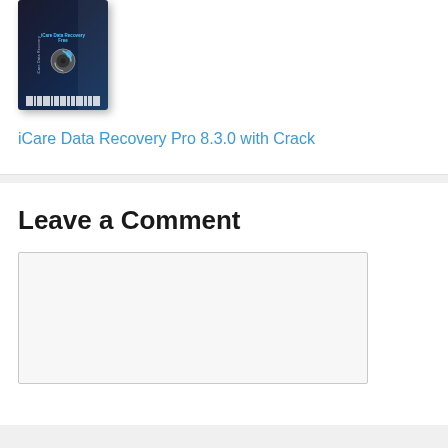[Figure (illustration): iCare Data Recovery software product box with dark blue/black design, disk icon, logo text, and barcode at the bottom]
iCare Data Recovery Pro 8.3.0 with Crack
Leave a Comment